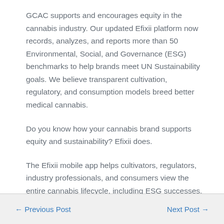GCAC supports and encourages equity in the cannabis industry. Our updated Efixii platform now records, analyzes, and reports more than 50 Environmental, Social, and Governance (ESG) benchmarks to help brands meet UN Sustainability goals. We believe transparent cultivation, regulatory, and consumption models breed better medical cannabis.
Do you know how your cannabis brand supports equity and sustainability? Efixii does.
The Efixii mobile app helps cultivators, regulators, industry professionals, and consumers view the entire cannabis lifecycle, including ESG successes. We enable safe, certified, and consistent cannabis products. Everyone can see the whole product story by simply scanning a secure Efixii QR code.
← Previous Post    Next Post →